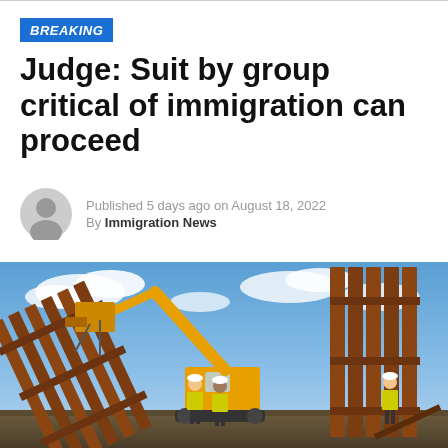BREAKING
Judge: Suit by group critical of immigration can proceed
Published 5 days ago on August 18, 2022
By Immigration News
[Figure (photo): Construction workers in yellow vests and hard hats operating a yellow excavator/crane lifting heavy rusted metal border fence panels against a blue sky with clouds.]